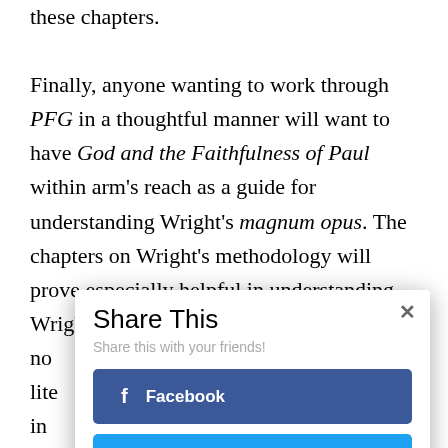these chapters.
Finally, anyone wanting to work through PFG in a thoughtful manner will want to have God and the Faithfulness of Paul within arm's reach as a guide for understanding Wright's magnum opus. The chapters on Wright's methodology will prove especially helpful in understanding Wright's points. Readers who are no[t familiar with...] lite[rature...] s in [... ] Wr[ight's] cha[pters] he[re] rea[d...]
[Figure (screenshot): Share This modal dialog overlay with Facebook and Twitter share buttons]